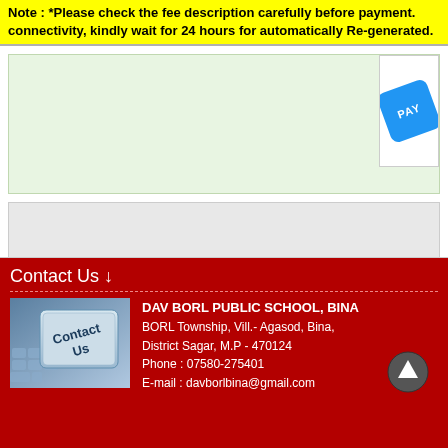Note : *Please check the fee description carefully before payment. If there is any problem in connectivity, kindly wait for 24 hours for automatically Re-generated.
[Figure (other): Light green content area with a white box containing a blue PAY button on the right side]
Contact Us ↓
[Figure (photo): Keyboard key with 'Contact Us' text on it in blue/silver tones]
DAV BORL PUBLIC SCHOOL, BINA
BORL Township, Vill.- Agasod, Bina,
District Sagar, M.P - 470124
Phone : 07580-275401
E-mail : davborlbina@gmail.com